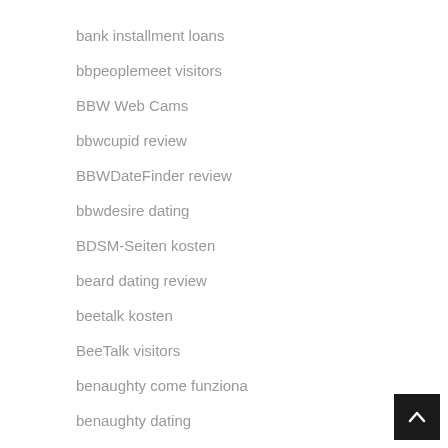bank installment loans
bbpeoplemeet visitors
BBW Web Cams
bbwcupid review
BBWDateFinder review
bbwdesire dating
BDSM-Seiten kosten
beard dating review
beetalk kosten
BeeTalk visitors
benaughty come funziona
benaughty dating
best car title loans